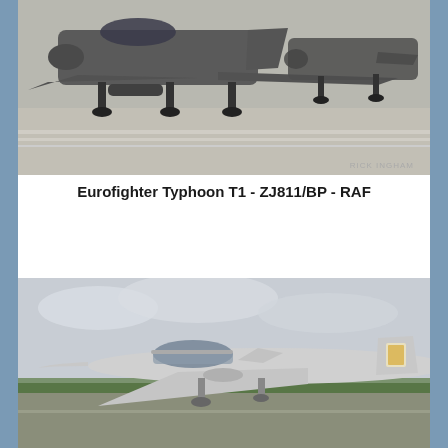[Figure (photo): Eurofighter Typhoon T1 ZJ811/BP RAF aircraft on runway, front view showing two aircraft on tarmac with landing gear deployed, photographer credit RICK INGHAM]
Eurofighter Typhoon T1 - ZJ811/BP - RAF
[Figure (photo): Eurofighter Typhoon aircraft in light grey livery on airfield, side profile view showing cockpit, tail fin with squadron badge, green trees in background]